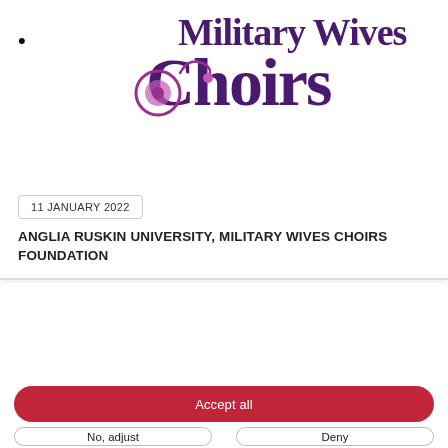[Figure (logo): Military Wives Choirs logo with stylized text and musical note/swirl graphic in purple]
•
11 JANUARY 2022
ANGLIA RUSKIN UNIVERSITY, MILITARY WIVES CHOIRS FOUNDATION
Privacy policy
We use cookies
We may place these for analysis of our visitor data, to improve our website, show personalised content and to give you a great website experience. For more information about the cookies we use open the settings.
Accept all
No, adjust
Deny